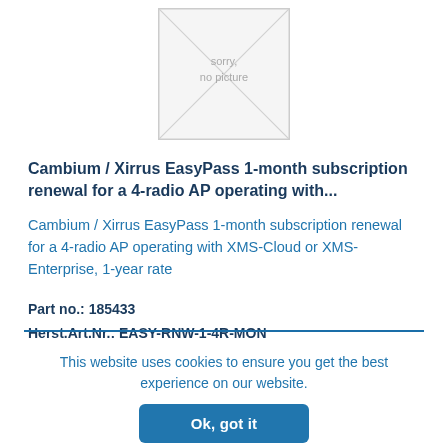[Figure (illustration): Placeholder image showing 'sorry, no picture' with diagonal lines forming an X pattern]
Cambium / Xirrus EasyPass 1-month subscription renewal for a 4-radio AP operating with...
Cambium / Xirrus EasyPass 1-month subscription renewal for a 4-radio AP operating with XMS-Cloud or XMS-Enterprise, 1-year rate
Part no.: 185433
Herst.Art.Nr.: EASY-RNW-1-4R-MON
This website uses cookies to ensure you get the best experience on our website.